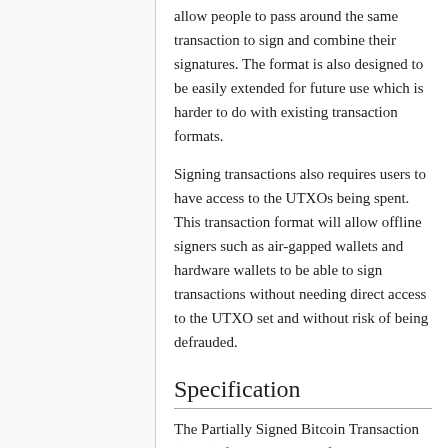allow people to pass around the same transaction to sign and combine their signatures. The format is also designed to be easily extended for future use which is harder to do with existing transaction formats.
Signing transactions also requires users to have access to the UTXOs being spent. This transaction format will allow offline signers such as air-gapped wallets and hardware wallets to be able to sign transactions without needing direct access to the UTXO set and without risk of being defrauded.
Specification
The Partially Signed Bitcoin Transaction (PSBT) format consists of key-value maps. Each map consists of a sequence of key-value pairs terminated by...